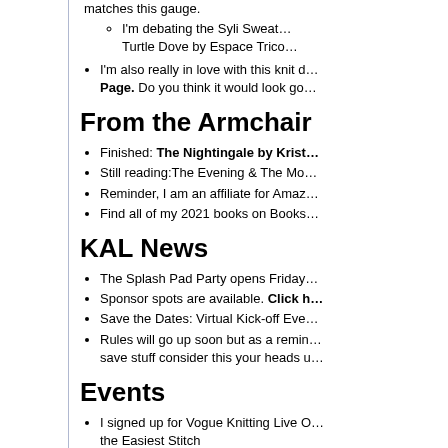matches this gauge.
I'm debating the Syli Sweat… Turtle Dove by Espace Trico…
I'm also really in love with this knit d… Page. Do you think it would look go…
From the Armchair
Finished: The Nightingale by Krist…
Still reading: The Evening & The Mo…
Reminder, I am an affiliate for Amaz…
Find all of my 2021 books on Books…
KAL News
The Splash Pad Party opens Friday…
Sponsor spots are available. Click h…
Save the Dates: Virtual Kick-off Eve…
Rules will go up soon but as a remin… save stuff consider this your heads u…
Events
I signed up for Vogue Knitting Live O… the Easiest Stitch
Vogue Knitting Virtual Events– Ma…
Knit for Food Knit-a-thon Sun, Ap…
Sign up, or consider donatin… page.
Contest, News & Notes
What's new on the Down Cellar Stu…
Disney Ears Tutorial with R…